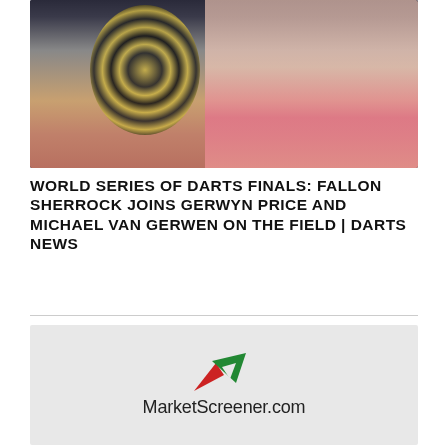[Figure (photo): Photo of Fallon Sherrock celebrating in front of a dartboard, wearing a pink top with arms raised]
WORLD SERIES OF DARTS FINALS: FALLON SHERROCK JOINS GERWYN PRICE AND MICHAEL VAN GERWEN ON THE FIELD | DARTS NEWS
[Figure (logo): MarketScreener.com logo with red and green arrow icon above the text]